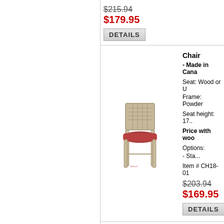$215.94 (strikethrough)
$179.95
DETAILS
[Figure (photo): A dining chair with woven/patterned back and red upholstered seat, wooden frame in light finish]
Chair
- Made in Cana...
Seat: Wood or U...
Frame: Powder...
Seat height: 17....
Price with woo...
Options:
- Sta...
Item # CH18-01...
$203.94 (strikethrough)
$169.95
DETAILS
[Figure (photo): A dining chair with solid back panel, wooden seat in natural finish, dark metal or wood frame]
Chair
- Made in Cana...
Seat: Wood or U...